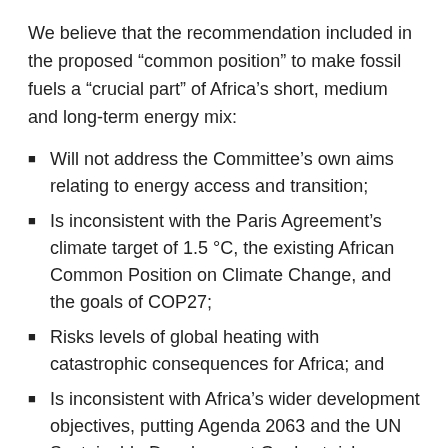We believe that the recommendation included in the proposed “common position” to make fossil fuels a “crucial part” of Africa’s short, medium and long-term energy mix:
Will not address the Committee’s own aims relating to energy access and transition;
Is inconsistent with the Paris Agreement’s climate target of 1.5 °C, the existing African Common Position on Climate Change, and the goals of COP27;
Risks levels of global heating with catastrophic consequences for Africa; and
Is inconsistent with Africa’s wider development objectives, putting Agenda 2063 and the UN Sustainable Development Goals at risk.
We join with other organisations in supporting the
Memorandum exposing and rejecting the African Union